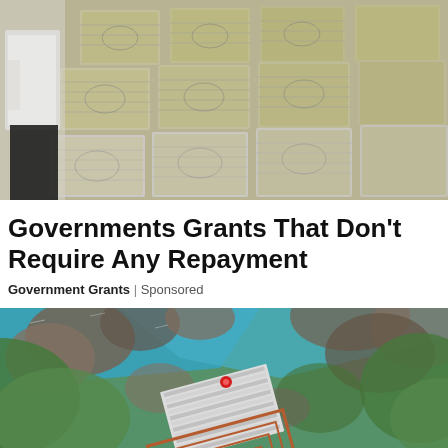[Figure (photo): Stacks of bundled US dollar bills piled high, with a person in white shirt and black pants visible on the left side.]
Governments Grants That Don't Require Any Repayment
Government Grants | Sponsored
[Figure (photo): Aerial drone view of a building with striped roof and geometric patterns near rocky coastline with turquoise water and green rocky hills.]